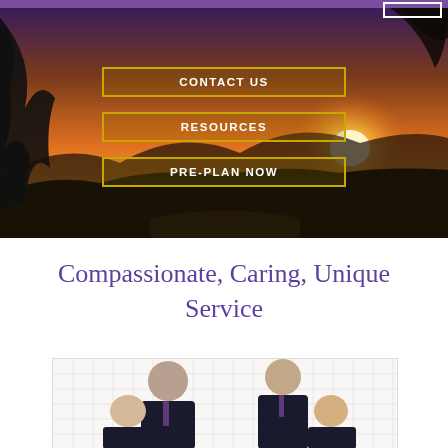[Figure (photo): Scenic sunset landscape with trees in foreground and mountains/hills in background with orange/golden sky]
CONTACT US
RESOURCES
PRE-PLAN NOW
Compassionate, Caring, Unique Service
[Figure (photo): Group photo of four people (two men, two women) wearing dark suits with purple ties, standing in front of a decorative white lattice background]